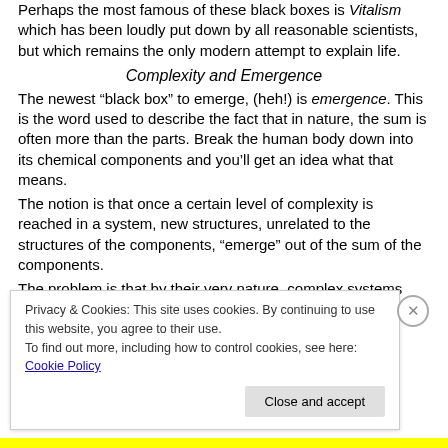Perhaps the most famous of these black boxes is Vitalism which has been loudly put down by all reasonable scientists, but which remains the only modern attempt to explain life.
Complexity and Emergence
The newest “black box” to emerge, (heh!) is emergence. This is the word used to describe the fact that in nature, the sum is often more than the parts. Break the human body down into its chemical components and you’ll get an idea what that means.
The notion is that once a certain level of complexity is reached in a system, new structures, unrelated to the structures of the components, “emerge” out of the sum of the components.
The problem is that by their very nature, complex systems cannot be predicted. The very best anyone hopes for once
Privacy & Cookies: This site uses cookies. By continuing to use this website, you agree to their use.
To find out more, including how to control cookies, see here: Cookie Policy